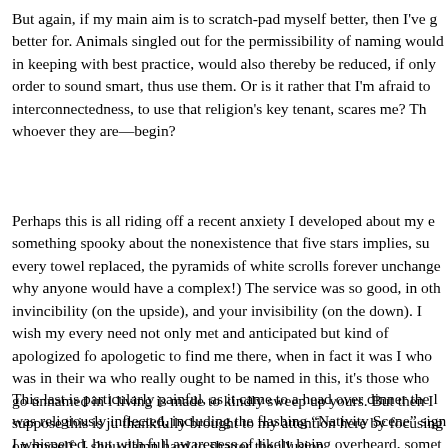But again, if my main aim is to scratch-pad myself better, then I've g... better for. Animals singled out for the permissibility of naming would... in keeping with best practice, would also thereby be reduced, if only... order to sound smart, thus use them. Or is it rather that I'm afraid to... interconnectedness, to use that religion's key tenant, scares me? Th... whoever they are—begin?
Perhaps this is all riding off a recent anxiety I developed about my e... something spooky about the nonexistence that five stars implies, su... every towel replaced, the pyramids of white scrolls forever unchange... why anyone would have a complex!) The service was so good, in oth... invincibility (on the upside), and your invisibility (on the down). I wish... my every need not only met and anticipated but kind of apologized f... apologetic to find me there, when in fact it was I who was in their wa... who really ought to be named in this, it's those who go unnamed in l... living is made to kindly sweep up yours. But then I suppose this is ju... thankfully brought to my attention here by focusing on myself: I shou... damn hard to shatter the illusion.
This last is particularly painful, as it came to a head over dinner the l... was religiously inflected, including the flashing "Nativity Scene" sign... I whispered, but with full awareness of likely being overheard, somet... whole place had come to seem like one great Christmas hoax to me...